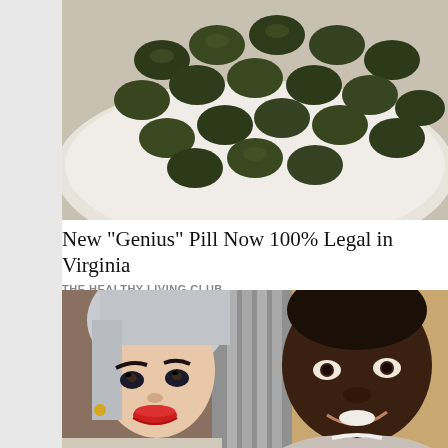[Figure (photo): Photograph of a pile of dark green round tablets/pills on a white plate]
New "Genius" Pill Now 100% Legal in Virginia
THE HEALTHY LIVING CLUB
[Figure (photo): Selfie photo of a woman with light blue-grey hair and a man with dark skin, both smiling]